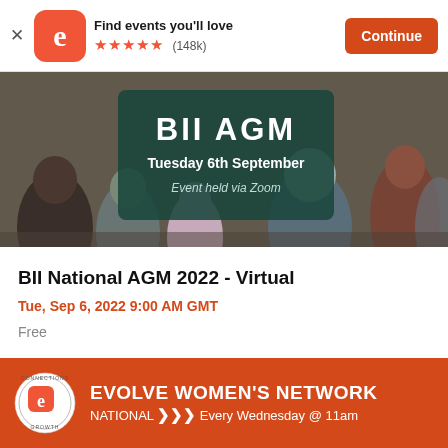Find events you'll love ★★★★★ (148k) Continue
[Figure (photo): Event banner image showing audience members from behind in a conference setting, with a dark teal overlay box displaying 'BII AGM', 'Tuesday 6th September', 'Event held via Zoom']
BII National AGM 2022 - Virtual
Tue, Sep 6, 2022 9:00 AM GMT
Free
[Figure (infographic): Red banner advertisement for Evolve Women's Network, NATIONAL >>> Every Wednesday @ 11am, with circular Eventbrite-style logo on left]